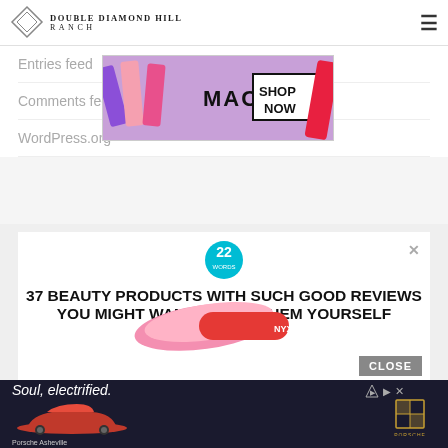[Figure (logo): Double Diamond Hill Ranch logo with diamond shape and text]
Entries feed
[Figure (photo): MAC cosmetics advertisement banner showing lipsticks with SHOP NOW button]
Comments feed
WordPress.org
[Figure (screenshot): 22 Words popup ad: 37 BEAUTY PRODUCTS WITH SUCH GOOD REVIEWS YOU MIGHT WANT TO TRY THEM YOURSELF, with beauty products image and CLOSE button]
[Figure (photo): Porsche Asheville advertisement: Soul, electrified. with red Porsche car image and Porsche logo]